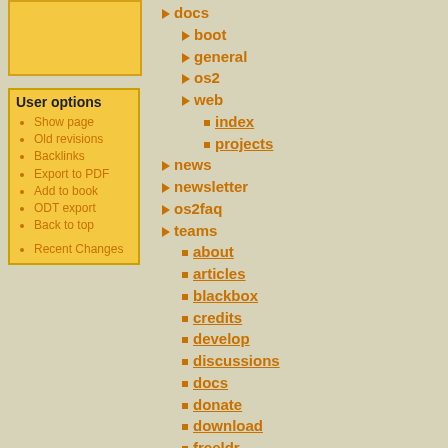[Figure (other): Yellow/orange placeholder image box in left sidebar]
User options
Show page
Old revisions
Backlinks
Export to PDF
Add to book
ODT export
Back to top
Recent Changes
docs
boot
general
os2
web
index
projects
news
newsletter
os2faq
teams
about
articles
blackbox
credits
develop
discussions
docs
donate
download
freeldr